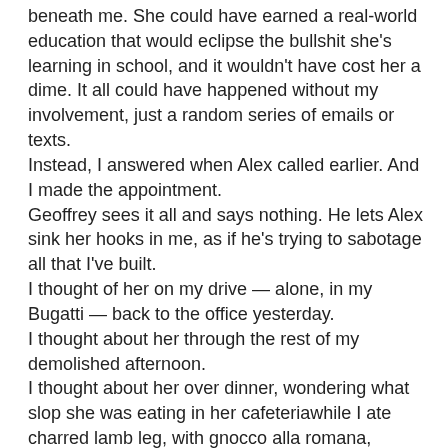beneath me. She could have earned a real-world education that would eclipse the bullshit she's learning in school, and it wouldn't have cost her a dime. It all could have happened without my involvement, just a random series of emails or texts.
Instead, I answered when Alex called earlier. And I made the appointment.
Geoffrey sees it all and says nothing. He lets Alex sink her hooks in me, as if he's trying to sabotage all that I've built.
I thought of her on my drive — alone, in my Bugatti — back to the office yesterday.
I thought about her through the rest of my demolished afternoon.
I thought about her over dinner, wondering what slop she was eating in her cafeteriawhile I ate charred lamb leg, with gnocco alla romana, shaved fennel, celery and vincotto. I even considered calling her to start our lessons early. If she's to be my student, the least I should do is teach her to eat finer foods.
I thought about her in the evening.
I thought about her all night long, and then all day until she called — with me, Nathan Fucking Turner, waiting by the